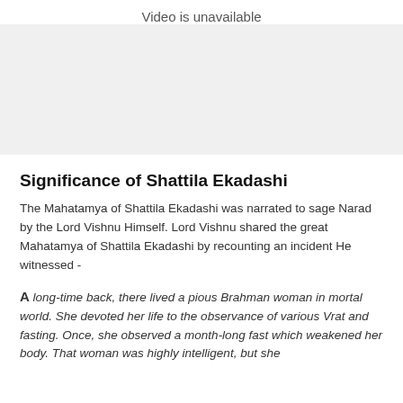Video is unavailable
[Figure (other): Video unavailable placeholder area (gray/white box)]
Significance of Shattila Ekadashi
The Mahatamya of Shattila Ekadashi was narrated to sage Narad by the Lord Vishnu Himself. Lord Vishnu shared the great Mahatamya of Shattila Ekadashi by recounting an incident He witnessed -
A long-time back, there lived a pious Brahman woman in mortal world. She devoted her life to the observance of various Vrat and fasting. Once, she observed a month-long fast which weakened her body. That woman was highly intelligent, but she never gave alms to anyone. A man in her life